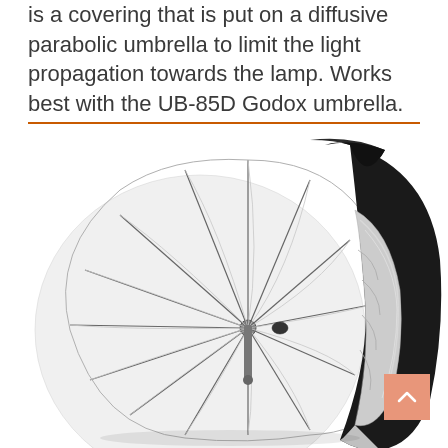is a covering that is put on a diffusive parabolic umbrella to limit the light propagation towards the lamp. Works best with the UB-85D Godox umbrella.
[Figure (photo): A large diffusive parabolic umbrella photographed from the side, showing white translucent fabric panels with metal ribs. A black and silver reflective cover/backing is partially rolled back on the right side, revealing the silver interior.]